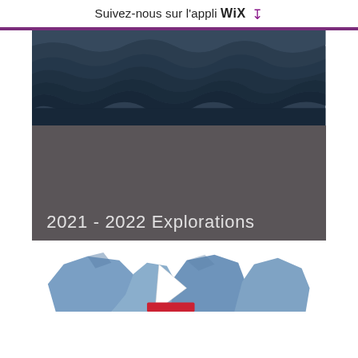Suivez-nous sur l'appli WiX ↓
[Figure (photo): Ocean water surface photograph showing dark blue-gray waves, upper portion; lower portion transitions to dark gray background. Text '2021 - 2022 Explorations' overlaid on dark section. Bottom portion shows a stylized iceberg/sailing logo illustration with blue and red shapes on white background.]